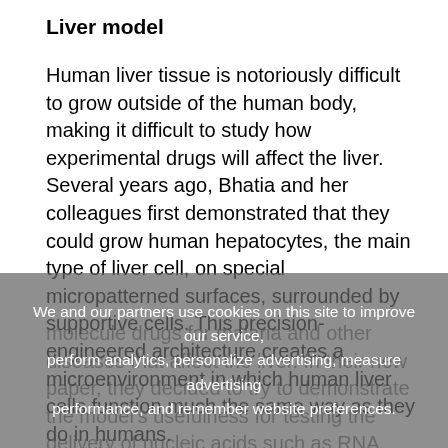Liver model
Human liver tissue is notoriously difficult to grow outside of the human body, making it difficult to study how experimental drugs will affect the liver. Several years ago, Bhatia and her colleagues first demonstrated that they could grow human hepatocytes, the main type of liver cell, on special micropatterned surfaces, surrounded by supportive cells. This precision-engineered architecture creates a microenvironment in which human liver cells function much the same way as they do in humans.
Since then, they have used this model to test small-molecule drugs for malaria and other diseases that affect the liver. In their new paper, they decided to try to demonstrate the model's usefulness for testing the delivery of nucleic acids such as RNA. Through RNA interference, short strands of RNA can be used to
We and our partners use cookies on this site to improve our service, perform analytics, personalize advertising, measure advertising performance, and remember website preferences.